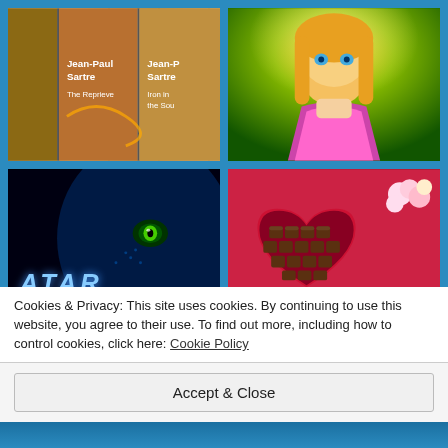[Figure (photo): Grid of four images: top-left shows Jean-Paul Sartre book covers (The Reprieve, Iron in the Soul), top-right shows a Barbie doll with glowing background, bottom-left shows Avatar movie poster with 'ATAR' text visible and blue alien face, bottom-right shows a heart-shaped box of chocolates with flowers]
Cookies & Privacy: This site uses cookies. By continuing to use this website, you agree to their use. To find out more, including how to control cookies, click here: Cookie Policy
Accept & Close